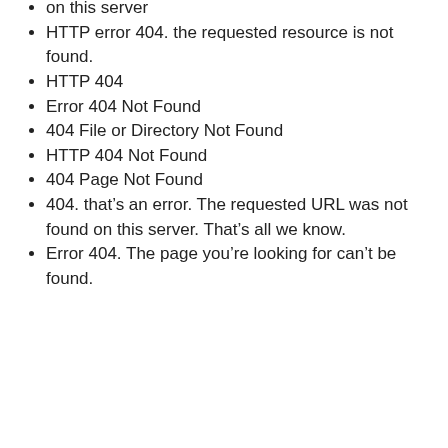on this server
HTTP error 404. the requested resource is not found.
HTTP 404
Error 404 Not Found
404 File or Directory Not Found
HTTP 404 Not Found
404 Page Not Found
404. that’s an error. The requested URL was not found on this server. That’s all we know.
Error 404. The page you’re looking for can’t be found.